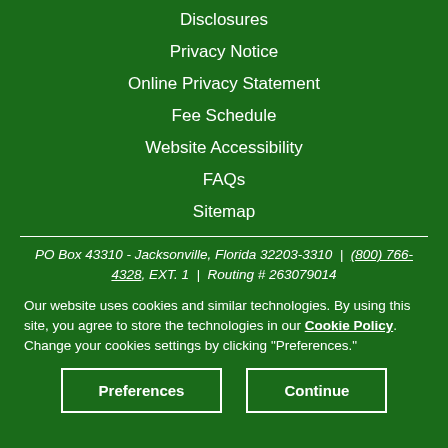Disclosures
Privacy Notice
Online Privacy Statement
Fee Schedule
Website Accessibility
FAQs
Sitemap
PO Box 43310 - Jacksonville, Florida 32203-3310 | (800) 766-4328, EXT. 1 | Routing # 263079014
Our website uses cookies and similar technologies. By using this site, you agree to store the technologies in our Cookie Policy. Change your cookies settings by clicking "Preferences."